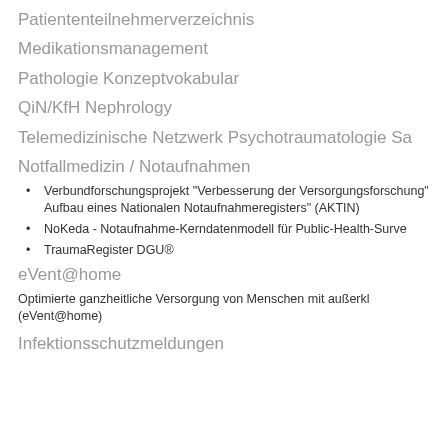Patiententeilnehmerverzeichnis
Medikationsmanagement
Pathologie Konzeptvokabular
QiN/KfH Nephrology
Telemedizinische Netzwerk Psychotraumatologie Sa
Notfallmedizin / Notaufnahmen
Verbundforschungsprojekt "Verbesserung der Versorgungsforschung" Aufbau eines Nationalen Notaufnahmeregisters" (AKTIN)
NoKeda - Notaufnahme-Kerndatenmodell für Public-Health-Surve
TraumaRegister DGU®
eVent@home
Optimierte ganzheitliche Versorgung von Menschen mit außerkl (eVent@home)
Infektionsschutzmeldungen